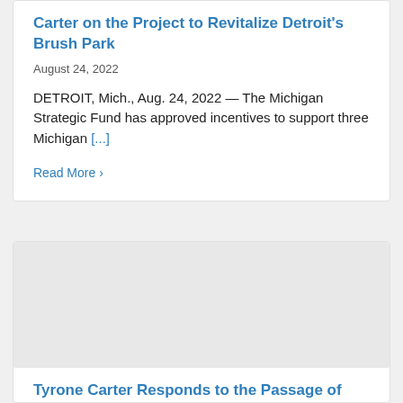Carter on the Project to Revitalize Detroit's Brush Park
August 24, 2022
DETROIT, Mich., Aug. 24, 2022 — The Michigan Strategic Fund has approved incentives to support three Michigan [...]
Read More ›
[Figure (photo): Gray placeholder image area for the second article card]
Tyrone Carter Responds to the Passage of